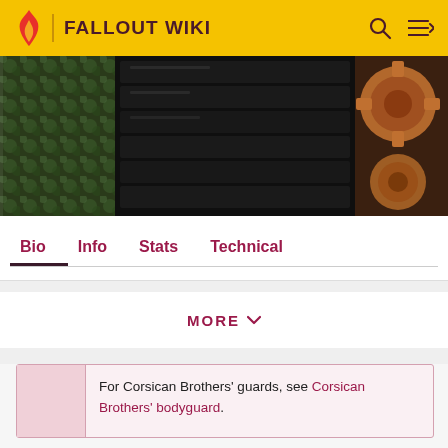FALLOUT WIKI
[Figure (screenshot): In-game screenshot showing dark industrial game environment with gear-like elements on the right and foliage on the left]
Bio | Info | Stats | Technical
MORE
For Corsican Brothers' guards, see Corsican Brothers' bodyguard.
“The Corsican Brothers at yer service’ (Glances up, irritated, then does a double take.) YOU’RE the new